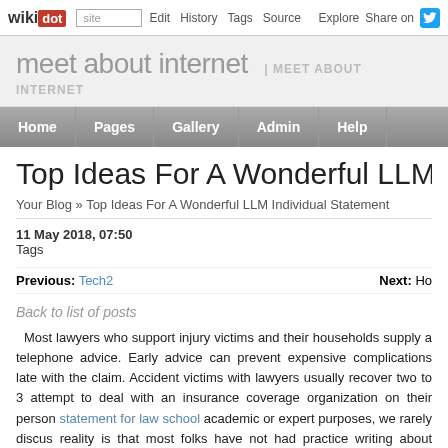wikidot | site | Edit | History | Tags | Source | Explore | Share on [Twitter]
meet about internet | MEET ABOUT INTERNET
Home | Pages | Gallery | Admin | Help
Top Ideas For A Wonderful LLM Individual Statement
Your Blog » Top Ideas For A Wonderful LLM Individual Statement
11 May 2018, 07:50
Tags
Previous: Tech2    Next: Ho
Back to list of posts
Most lawyers who support injury victims and their households supply a telephone advice. Early advice can prevent expensive complications late with the claim. Accident victims with lawyers usually recover two to 3 attempt to deal with an insurance coverage organization on their person statement for law school academic or expert purposes, we rarely discus reality is that most folks have not had practice writing about themselves